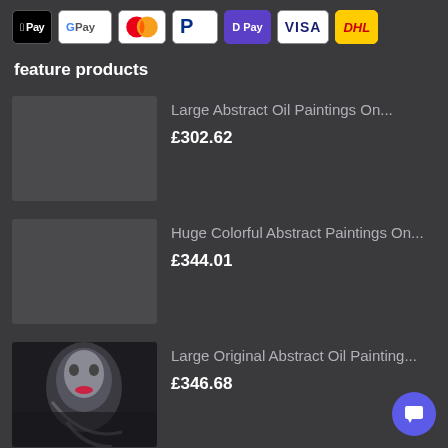[Figure (other): Payment method logos: Apple Pay, Google Pay, Mastercard, PayPal, D Pay, VISA, DHL]
feature products
Large Abstract Oil Paintings On...
£302.62
Huge Colorful Abstract Paintings On...
£344.01
[Figure (photo): Photo of a large abstract oil painting featuring a face with dramatic makeup]
Large Original Abstract Oil Painting...
£346.68